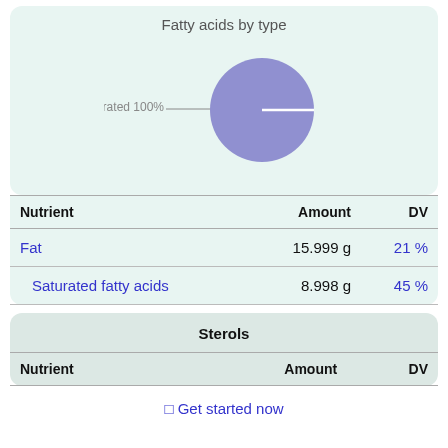Fatty acids by type
[Figure (pie-chart): Fatty acids by type]
| Nutrient | Amount | DV |
| --- | --- | --- |
| Fat | 15.999 g | 21 % |
| Saturated fatty acids | 8.998 g | 45 % |
Sterols
| Nutrient | Amount | DV |
| --- | --- | --- |
⊡ Get started now